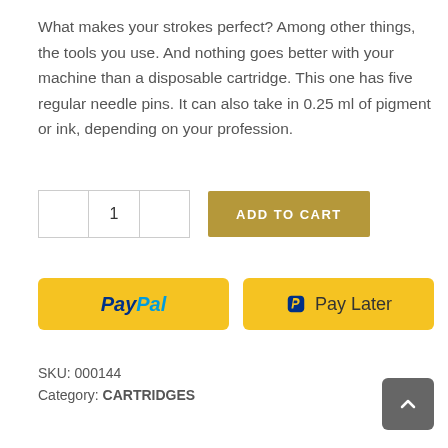What makes your strokes perfect? Among other things, the tools you use. And nothing goes better with your machine than a disposable cartridge. This one has five regular needle pins. It can also take in 0.25 ml of pigment or ink, depending on your profession.
[Figure (screenshot): E-commerce add to cart UI with quantity selector showing '1' and a golden 'ADD TO CART' button]
[Figure (screenshot): PayPal and Pay Later payment buttons in yellow]
SKU: 000144
Category: CARTRIDGES